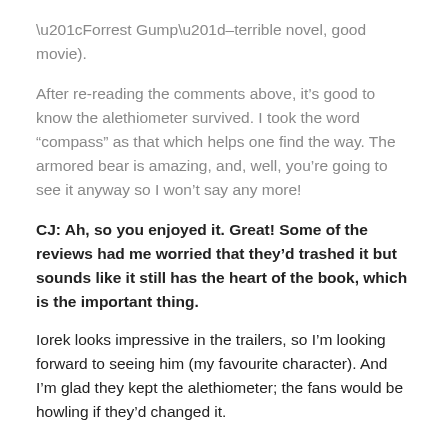“Forrest Gump”–terrible novel, good movie).
After re-reading the comments above, it’s good to know the alethiometer survived. I took the word “compass” as that which helps one find the way. The armored bear is amazing, and, well, you’re going to see it anyway so I won’t say any more!
CJ: Ah, so you enjoyed it. Great! Some of the reviews had me worried that they’d trashed it but sounds like it still has the heart of the book, which is the important thing.
Iorek looks impressive in the trailers, so I’m looking forward to seeing him (my favourite character). And I’m glad they kept the alethiometer; the fans would be howling if they’d changed it.